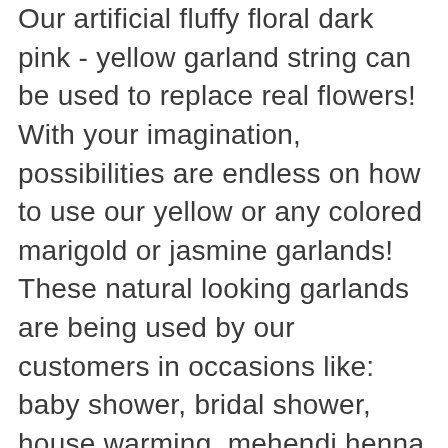Our artificial fluffy floral dark pink - yellow garland string can be used to replace real flowers! With your imagination, possibilities are endless on how to use our yellow or any colored marigold or jasmine garlands! These natural looking garlands are being used by our customers in occasions like: baby shower, bridal shower, house warming, mehendi henna - haldi party, sangeet night, new year party backdrop, Indian or American wedding or festival celebrations decoration, Christmas party decoration, COCO themed parties, door, wall or temple entrance decor, thanksgiving, Halloween, spring, summer or fall themed wedding, religious celebrations, floral mirror decor, party backdrop or fancy floral curtain that will look incredible in your pictures as a background.